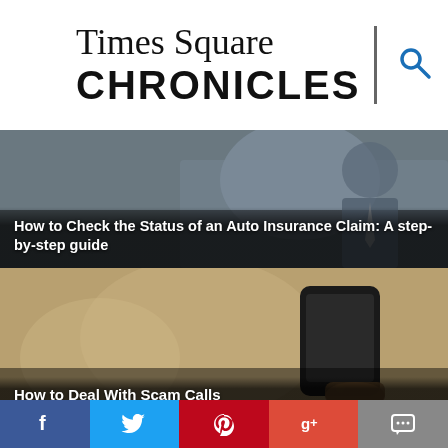Times Square CHRONICLES
[Figure (photo): Article thumbnail with dark overlay showing a person in a car, representing auto insurance claim article]
How to Check the Status of an Auto Insurance Claim: A step-by-step guide
[Figure (photo): Article thumbnail showing a hand holding a smartphone, representing scam calls article]
How to Deal With Scam Calls
[Figure (photo): Article thumbnail showing a modern building exterior, representing vacation rental revenue article]
Increase Your Vacation Rental Revenue, This Is How
[Figure (photo): Blue banner area with partial preview of another article featuring a person and blue circle graphic]
Social media links: Facebook, Twitter, Pinterest, Google+, Comments